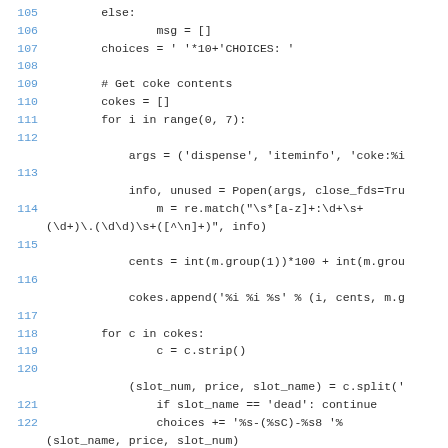Code listing lines 105-122 showing Python code for a vending machine/coke dispenser program